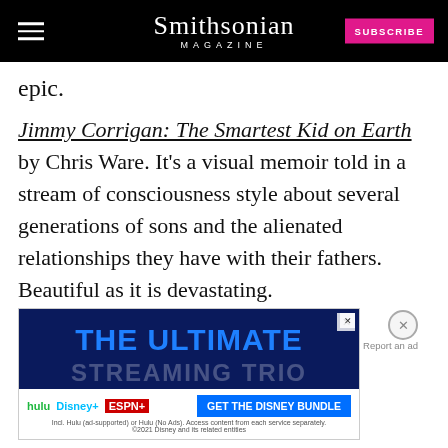Smithsonian MAGAZINE
epic.
Jimmy Corrigan: The Smartest Kid on Earth by Chris Ware. It's a visual memoir told in a stream of consciousness style about several generations of sons and the alienated relationships they have with their fathers. Beautiful as it is devastating.
[Figure (screenshot): Advertisement banner: 'THE ULTIMATE STREAMING TRIO' with Disney Bundle promotion showing Hulu, Disney+, ESPN+ logos and 'GET THE DISNEY BUNDLE' button]